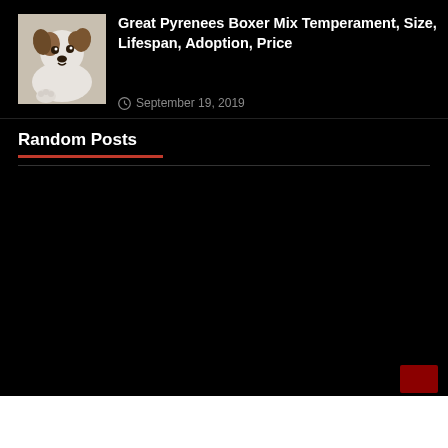[Figure (photo): A white and brown puppy dog photo thumbnail]
Great Pyrenees Boxer Mix Temperament, Size, Lifespan, Adoption, Price
September 19, 2019
Random Posts